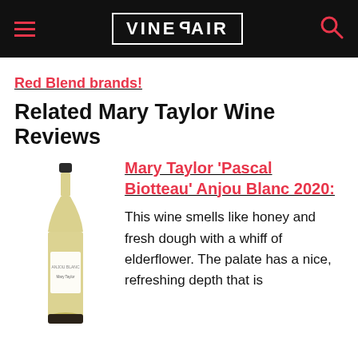VINEPAIR
Red Blend brands!
Related Mary Taylor Wine Reviews
[Figure (photo): A white wine bottle with a dark cap and a white label reading 'Mary Taylor', standing upright on a white background.]
Mary Taylor 'Pascal Biotteau' Anjou Blanc 2020:
This wine smells like honey and fresh dough with a whiff of elderflower. The palate has a nice, refreshing depth that is